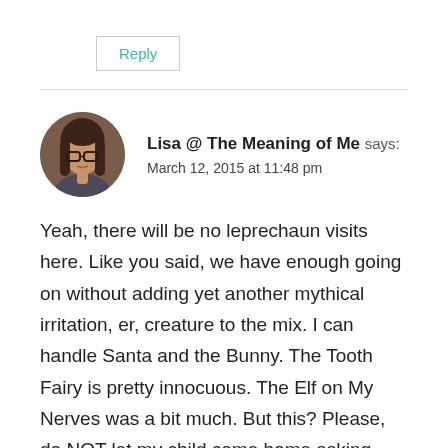Reply
[Figure (photo): Circular avatar photo of Lisa, a woman with glasses and dark hair]
Lisa @ The Meaning of Me says: March 12, 2015 at 11:48 pm
Yeah, there will be no leprechaun visits here. Like you said, we have enough going on without adding yet another mythical irritation, er, creature to the mix. I can handle Santa and the Bunny. The Tooth Fairy is pretty innocuous. The Elf on My Nerves was a bit much. But this? Please, do NOT let my child come home asking